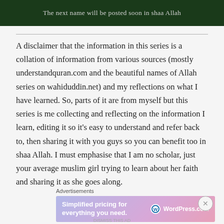The next name will be posted soon in shaa Allah
A disclaimer that the information in this series is a collation of information from various sources (mostly understandquran.com and the beautiful names of Allah series on wahiduddin.net) and my reflections on what I have learned. So, parts of it are from myself but this series is me collecting and reflecting on the information I learn, editing it so it’s easy to understand and refer back to, then sharing it with you guys so you can benefit too in shaa Allah. I must emphasise that I am no scholar, just your average muslim girl trying to learn about her faith and sharing it as she goes along.
Advertisements
[Figure (screenshot): WordPress.com advertisement banner: 'Simplified pricing for everything you need.' with WordPress.com logo on gradient purple-pink background]